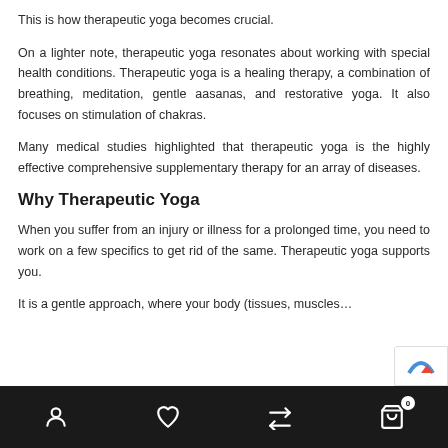This is how therapeutic yoga becomes crucial.
On a lighter note, therapeutic yoga resonates about working with special health conditions. Therapeutic yoga is a healing therapy, a combination of breathing, meditation, gentle aasanas, and restorative yoga. It also focuses on stimulation of chakras.
Many medical studies highlighted that therapeutic yoga is the highly effective comprehensive supplementary therapy for an array of diseases.
Why Therapeutic Yoga
When you suffer from an injury or illness for a prolonged time, you need to work on a few specifics to get rid of the same. Therapeutic yoga supports you.
It is a gentle approach, where your body (tissues, muscles…